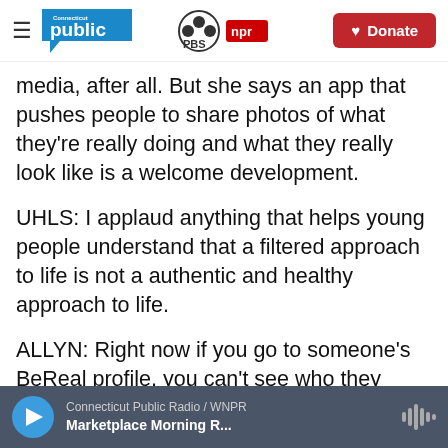Connecticut Public PBS NPR — Donate
media, after all. But she says an app that pushes people to share photos of what they're really doing and what they really look like is a welcome development.
UHLS: I applaud anything that helps young people understand that a filtered approach to life is not a authentic and healthy approach to life.
ALLYN: Right now if you go to someone's BeReal profile, you can't see who they follow or how many followers they have. The
Connecticut Public Radio / WNPR — Marketplace Morning R...